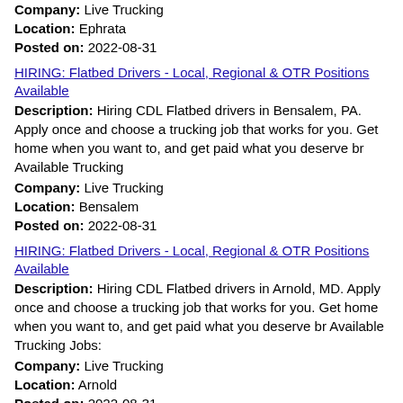Company: Live Trucking
Location: Ephrata
Posted on: 2022-08-31
HIRING: Flatbed Drivers - Local, Regional & OTR Positions Available
Description: Hiring CDL Flatbed drivers in Bensalem, PA. Apply once and choose a trucking job that works for you. Get home when you want to, and get paid what you deserve br Available Trucking
Company: Live Trucking
Location: Bensalem
Posted on: 2022-08-31
HIRING: Flatbed Drivers - Local, Regional & OTR Positions Available
Description: Hiring CDL Flatbed drivers in Arnold, MD. Apply once and choose a trucking job that works for you. Get home when you want to, and get paid what you deserve br Available Trucking Jobs:
Company: Live Trucking
Location: Arnold
Posted on: 2022-08-31
CDL-A Flatbed Truck Driver
Description: Hiring CDL Flatbed drivers in Halethorpe, MD. Apply once and choose a trucking job that works for you. Get home when you want to, and get paid what you deserve br